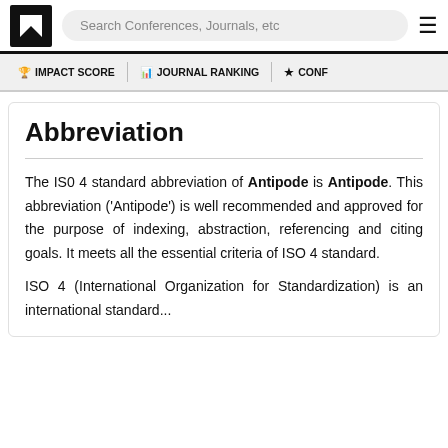Search Conferences, Journals, etc
IMPACT SCORE | JOURNAL RANKING | CONF
Abbreviation
The IS0 4 standard abbreviation of Antipode is Antipode. This abbreviation ('Antipode') is well recommended and approved for the purpose of indexing, abstraction, referencing and citing goals. It meets all the essential criteria of ISO 4 standard.
ISO 4 (International Organization for Standardization) is an international standard...